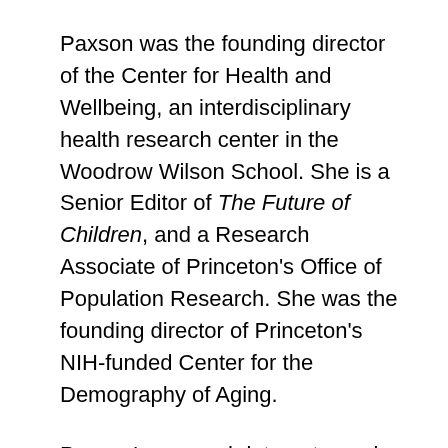Paxson was the founding director of the Center for Health and Wellbeing, an interdisciplinary health research center in the Woodrow Wilson School. She is a Senior Editor of The Future of Children, and a Research Associate of Princeton's Office of Population Research. She was the founding director of Princeton's NIH-funded Center for the Demography of Aging.
Paxson's research interests are in the areas of applied economics, health, and development economics. Her current research focuses on economic status and health outcomes over the life course in both developed and developing countries. She has investigated the effects of early life environments on children's cognitive development in the United States, the United Kingdom, and Ecuador, as well as the long-run effects of early life health problems on economic status in adulthood.